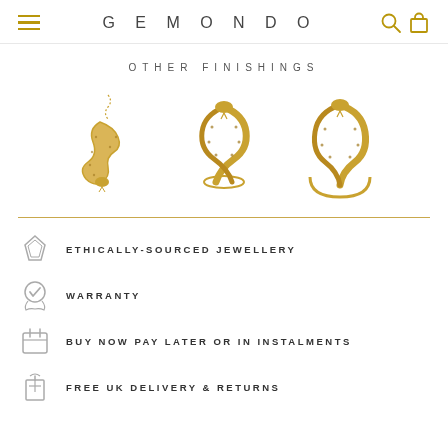GEMONDO
OTHER FINISHINGS
[Figure (photo): Three gold snake jewelry pieces: a snake pendant necklace on the left, a coiled snake ring in the center, and another snake ring on the right]
ETHICALLY-SOURCED JEWELLERY
WARRANTY
BUY NOW PAY LATER OR IN INSTALMENTS
FREE UK DELIVERY & RETURNS